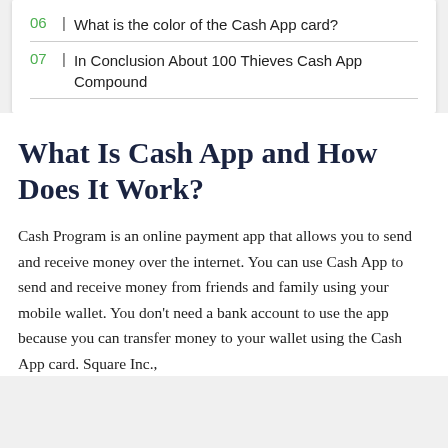06 | What is the color of the Cash App card?
07 | In Conclusion About 100 Thieves Cash App Compound
What Is Cash App and How Does It Work?
Cash Program is an online payment app that allows you to send and receive money over the internet. You can use Cash App to send and receive money from friends and family using your mobile wallet. You don't need a bank account to use the app because you can transfer money to your wallet using the Cash App card. Square Inc.,